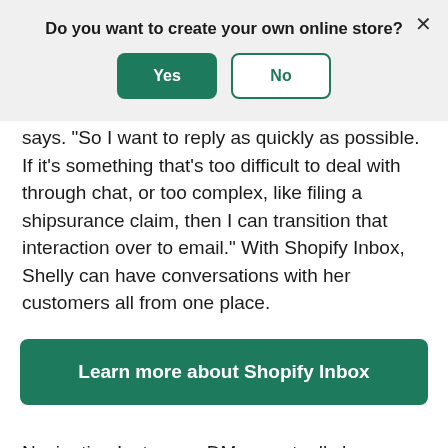Do you want to create your own online store?
[Figure (screenshot): Modal dialog with Yes (green filled button) and No (green outlined button) options, and an X close button in the top right]
says. "So I want to reply as quickly as possible. If it's something that's too difficult to deal with through chat, or too complex, like filing a shipsurance claim, then I can transition that interaction over to email." With Shopify Inbox, Shelly can have conversations with her customers all from one place.
Learn more about Shopify Inbox
Navigating Instagram DMs eventually became